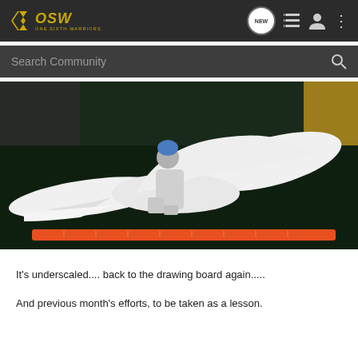OSW ONE.SIXTH.WARRIORS
[Figure (screenshot): Navigation bar with OSW logo, NEW button, list icon, user icon, and dots menu icon on dark background]
[Figure (screenshot): Search Community bar with magnifying glass icon]
[Figure (photo): A white 3D-printed figure/model of a character with blue hair seated in a white sculpted vehicle or wing structure, placed on a dark surface with an orange ruler for scale]
It's underscaled.... back to the drawing board again.....
And previous month's efforts, to be taken as a lesson.